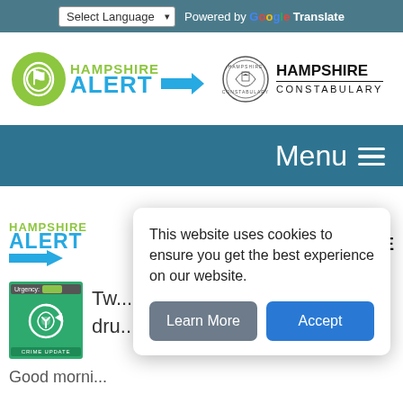Select Language | Powered by Google Translate
[Figure (logo): Hampshire Alert logo with green circle icon and blue arrow, alongside Hampshire Constabulary crest and text]
Menu ≡
[Figure (logo): Hampshire Alert logo (partial, second instance) and Hampshire Constabulary logo (partial)]
[Figure (illustration): Green crime update icon with urgency indicator and circular arrow symbol]
Tw... dru...
Good morni...
This website uses cookies to ensure you get the best experience on our website.
Learn More
Accept